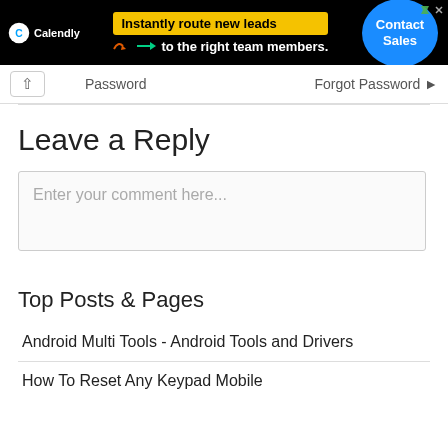[Figure (screenshot): Calendly advertisement banner with black background. Shows Calendly logo on left, yellow text box 'Instantly route new leads' with arrow graphic and text 'to the right team members.' in white, and a blue 'Contact Sales' circle button on the right. Small close/ad icons in top right corner.]
Password   Forgot Password ▸
Leave a Reply
Enter your comment here...
Top Posts & Pages
Android Multi Tools - Android Tools and Drivers
How To Reset Any Keypad Mobile